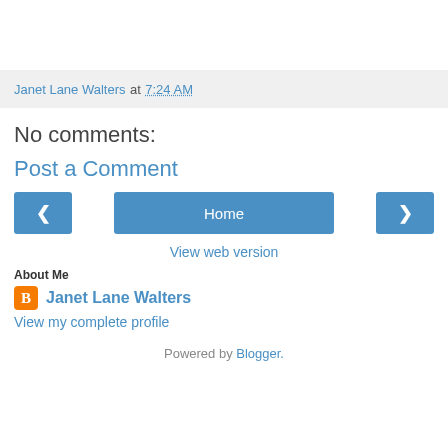Janet Lane Walters at 7:24 AM
No comments:
Post a Comment
Home
View web version
About Me
Janet Lane Walters
View my complete profile
Powered by Blogger.